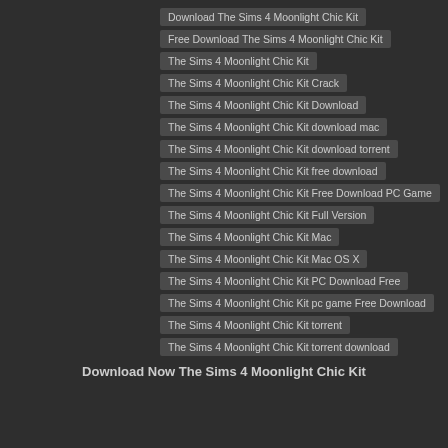Download The Sims 4 Moonlight Chic Kit
Free Download The Sims 4 Moonlight Chic Kit
The Sims 4 Moonlight Chic Kit
The Sims 4 Moonlight Chic Kit Crack
The Sims 4 Moonlight Chic Kit Download
The Sims 4 Moonlight Chic Kit download mac
The Sims 4 Moonlight Chic Kit download torrent
The Sims 4 Moonlight Chic Kit free download
The Sims 4 Moonlight Chic Kit Free Download PC Game
The Sims 4 Moonlight Chic Kit Full Version
The Sims 4 Moonlight Chic Kit Mac
The Sims 4 Moonlight Chic Kit Mac OS X
The Sims 4 Moonlight Chic Kit PC Download Free
The Sims 4 Moonlight Chic Kit pc game Free Download
The Sims 4 Moonlight Chic Kit torrent
The Sims 4 Moonlight Chic Kit torrent download
Download Now The Sims 4 Moonlight Chic Kit